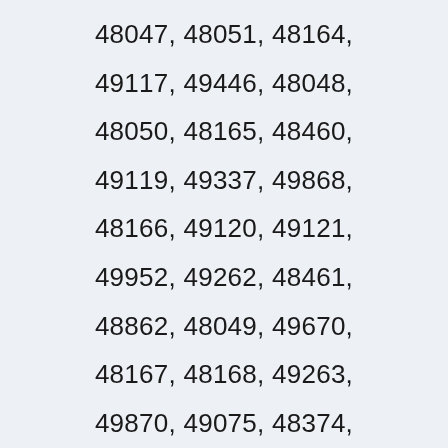48047, 48051, 48164, 49117, 49446, 48048, 48050, 48165, 48460, 49119, 49337, 49868, 48166, 49120, 49121, 49952, 49262, 48461, 48862, 48049, 49670, 48167, 48168, 49263, 49870, 49075, 48374, 48375, 48376, 48377, 49448, 48237, 48363, 48649, 49764, 48805, 48864, 49673, 49076, 49674, 48749, 49765, 49675, 49264, 49265,